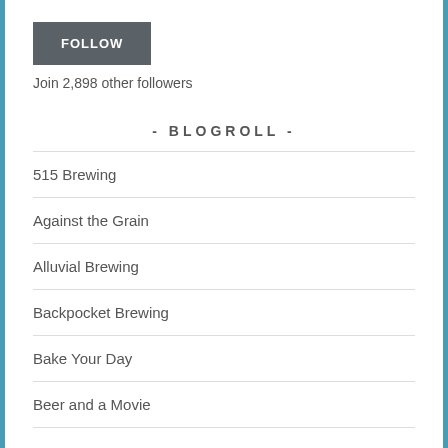FOLLOW
Join 2,898 other followers
- BLOGROLL -
515 Brewing
Against the Grain
Alluvial Brewing
Backpocket Brewing
Bake Your Day
Beer and a Movie